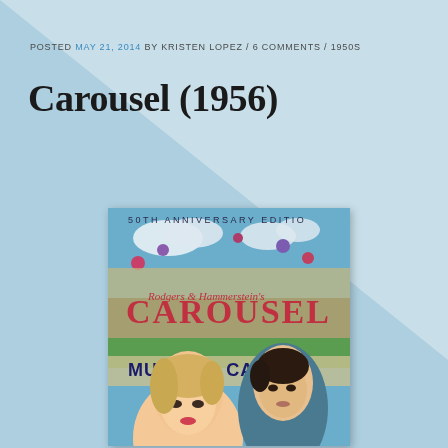POSTED MAY 21, 2014 BY KRISTEN LOPEZ / 6 COMMENTS / 1950S
Carousel (1956)
[Figure (photo): Movie cover/poster for Carousel 50th Anniversary Edition DVD. Shows Rodgers & Hammerstein's Carousel title in large red letters on a background of a fairground crowd scene with balloons. Below the title text reads MULLIN'S CA[rousel]. In the foreground are two actors: a blonde woman smiling and a dark-haired man. The cover states 50TH ANNIVERSARY EDITION at the top.]